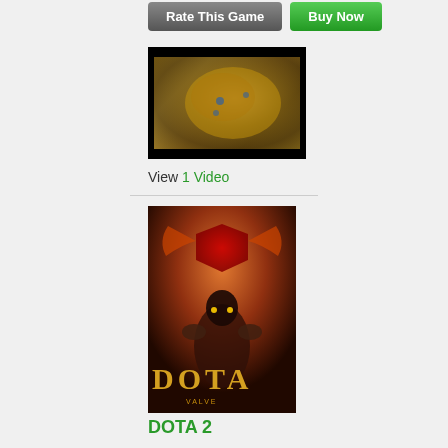[Figure (screenshot): Two buttons: 'Rate This Game' (dark gray) and 'Buy Now' (green)]
[Figure (screenshot): Video thumbnail showing a fantasy map with terrain, black border around it]
View 1 Video
[Figure (photo): Dota 2 game cover art showing armored characters with Dota logo and VALVE text at bottom]
DOTA 2